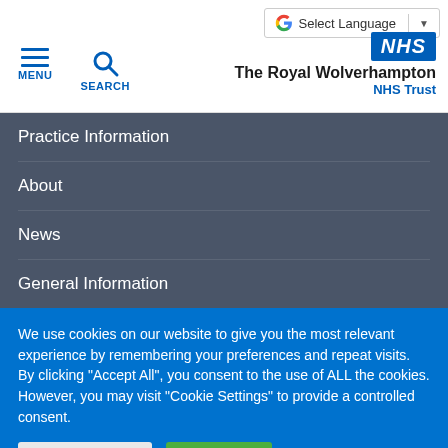[Figure (logo): Google Translate Select Language button with G logo and dropdown arrow]
[Figure (logo): NHS hamburger menu icon with MENU label and search icon with SEARCH label]
[Figure (logo): NHS blue badge logo with The Royal Wolverhampton NHS Trust text]
Practice Information
About
News
General Information
We use cookies on our website to give you the most relevant experience by remembering your preferences and repeat visits. By clicking "Accept All", you consent to the use of ALL the cookies. However, you may visit "Cookie Settings" to provide a controlled consent.
Cookie Settings | Accept All